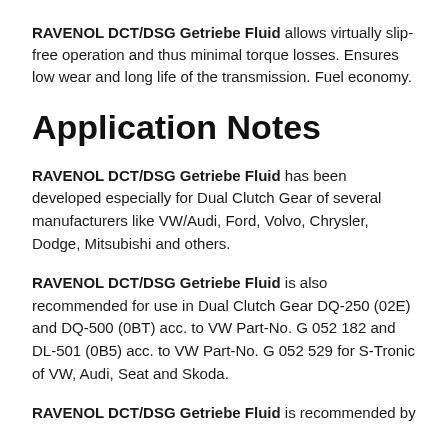RAVENOL DCT/DSG Getriebe Fluid allows virtually slip-free operation and thus minimal torque losses. Ensures low wear and long life of the transmission. Fuel economy.
Application Notes
RAVENOL DCT/DSG Getriebe Fluid has been developed especially for Dual Clutch Gear of several manufacturers like VW/Audi, Ford, Volvo, Chrysler, Dodge, Mitsubishi and others.
RAVENOL DCT/DSG Getriebe Fluid is also recommended for use in Dual Clutch Gear DQ-250 (02E) and DQ-500 (0BT) acc. to VW Part-No. G 052 182 and DL-501 (0B5) acc. to VW Part-No. G 052 529 for S-Tronic of VW, Audi, Seat and Skoda.
RAVENOL DCT/DSG Getriebe Fluid is recommended by...